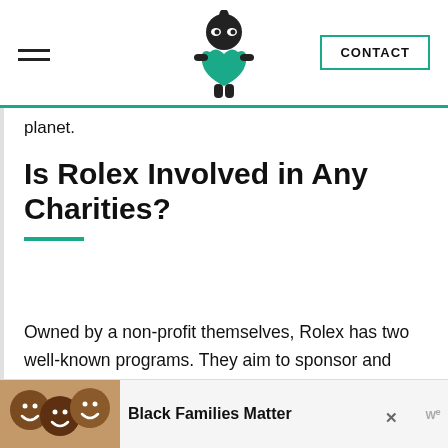CONTACT
planet.
Is Rolex Involved in Any Charities?
Owned by a non-profit themselves, Rolex has two well-known programs. They aim to sponsor and help talented individuals prosper in their dreams and projects. In hopes of creating a world rich in culture and knowledge.
[Figure (photo): Advertisement banner showing smiling people with text 'Black Families Matter']